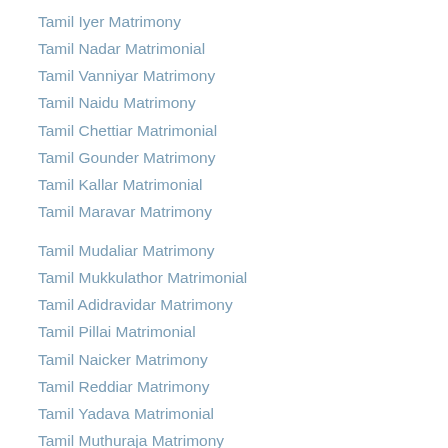Tamil Iyer Matrimony
Tamil Nadar Matrimonial
Tamil Vanniyar Matrimony
Tamil Naidu Matrimony
Tamil Chettiar Matrimonial
Tamil Gounder Matrimony
Tamil Kallar Matrimonial
Tamil Maravar Matrimony
Tamil Mudaliar Matrimony
Tamil Mukkulathor Matrimonial
Tamil Adidravidar Matrimony
Tamil Pillai Matrimonial
Tamil Naicker Matrimony
Tamil Reddiar Matrimony
Tamil Yadava Matrimonial
Tamil Muthuraja Matrimony
Tamil Vishwakarma Matrimonial
More Tamil Community Sites
Tamilnadu Community Based, Brides and Grooms